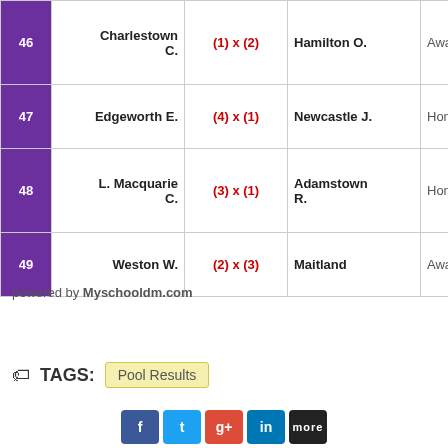| # | Home Team | Score | Away Team | Venue |
| --- | --- | --- | --- | --- |
| 46 | Charlestown C. | (1) x (2) | Hamilton O. | Away |
| 47 | Edgeworth E. | (4) x (1) | Newcastle J. | Home |
| 48 | L. Macquarie C. | (3) x (1) | Adamstown R. | Home |
| 49 | Weston W. | (2) x (3) | Maitland | Away |
powered by Myschooldm.com
TAGS: Pool Results